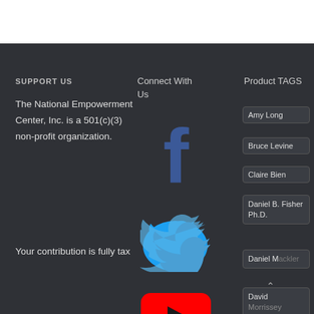SUPPORT US
The National Empowerment Center, Inc. is a 501(c)(3) non-profit organization.

Your contribution is fully tax
Connect With Us
[Figure (logo): Facebook logo icon (dark blue letter f)]
[Figure (logo): Twitter bird logo icon (light blue)]
[Figure (logo): YouTube play button logo (red rounded square with black play triangle)]
Product TAGS
Amy Long
Bruce Levine
Claire Bien
Daniel B. Fisher Ph.D.
Daniel Mackler
David Morrissey